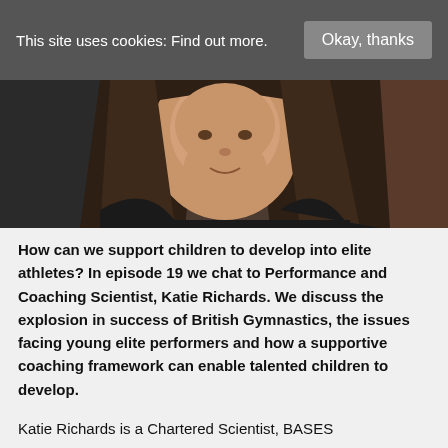This site uses cookies: Find out more.   Okay, thanks
[Figure (photo): Headshot photo of a young woman with long dark brown hair, smiling, wearing a dark jacket. Photo is cropped showing face and shoulders.]
How can we support children to develop into elite athletes? In episode 19 we chat to Performance and Coaching Scientist, Katie Richards. We discuss the explosion in success of British Gymnastics, the issues facing young elite performers and how a supportive coaching framework can enable talented children to develop.
Katie Richards is a Chartered Scientist, BASES